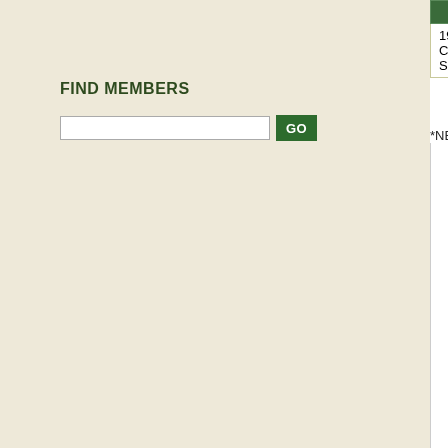FIND MEMBERS
| Description | Number |  |  |  |
| --- | --- | --- | --- | --- |
| 1928 2 Chervontsa - Sign. #3 | RUS199c | Base | 9 | 16 |
|  |  | ★ Star |  |  |
*NET graded notes receive half the listed sc